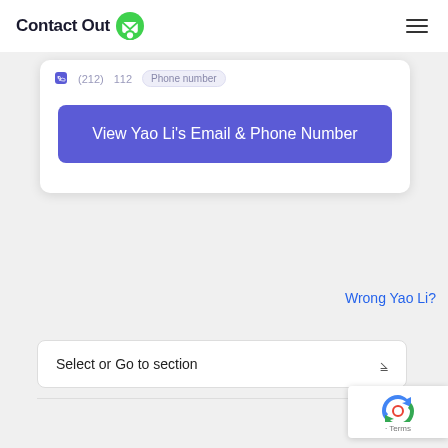ContactOut
(212) 112 Phone number
View Yao Li's Email & Phone Number
Wrong Yao Li?
Select or Go to section
[Figure (logo): reCAPTCHA badge with recycling arrows icon and Terms text]